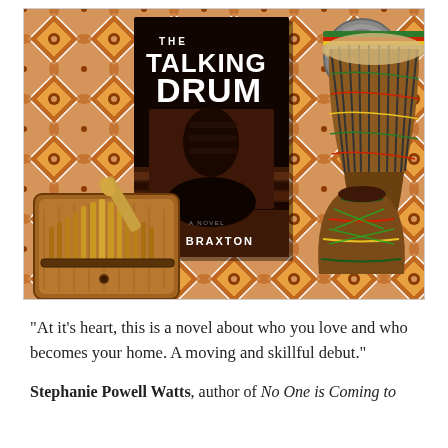[Figure (photo): Photo of the book 'The Talking Drum' by Lisa Braxton (a novel) on an African fabric background, surrounded by African musical instruments including a djembe drum on the right and a kalimba (thumb piano) on the lower left, and a decorative coin/disc in the upper right area.]
“At it’s heart, this is a novel about who you love and who becomes your home. A moving and skillful debut.”
Stephanie Powell Watts, author of No One is Coming to Save Her